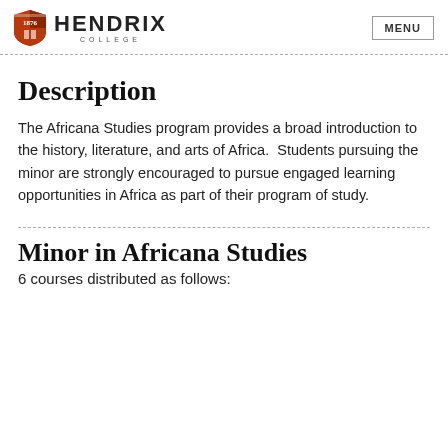Hendrix College — MENU
Description
The Africana Studies program provides a broad introduction to the history, literature, and arts of Africa.  Students pursuing the minor are strongly encouraged to pursue engaged learning opportunities in Africa as part of their program of study.
Minor in Africana Studies
6 courses distributed as follows: